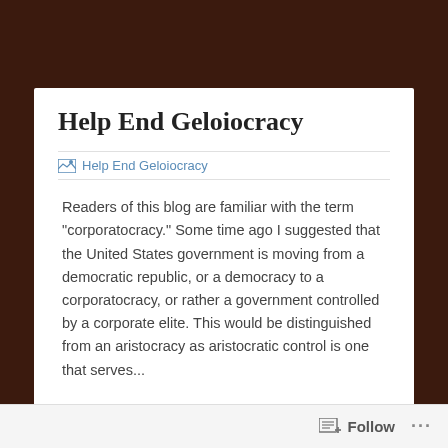Help End Geloiocracy
[Figure (illustration): Broken image placeholder labeled 'Help End Geloiocracy']
Readers of this blog are familiar with the term "corporatocracy." Some time ago I suggested that the United States government is moving from a democratic republic, or a democracy to a corporatocracy, or rather a government controlled by a corporate elite. This would be distinguished from an aristocracy as aristocratic control is one that serves...
Follow ...